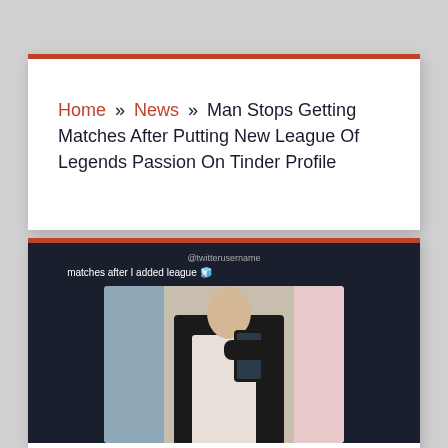Home » News » Man Stops Getting Matches After Putting New League Of Legends Passion On Tinder Profile
[Figure (photo): Screenshot of a social media post showing a person in a dark blazer taking a mirror selfie with their phone, with text 'matches after I added league' and an emoji above the photo]